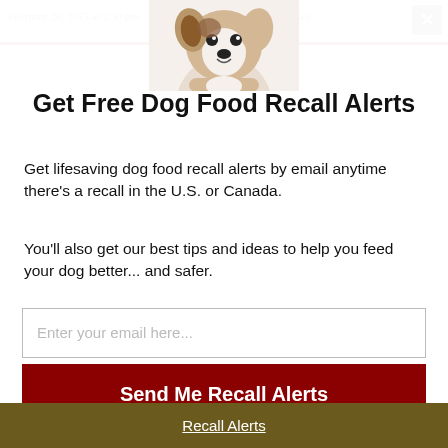February 20, 2015 at 2:30 pm  to: Commercial Raw
[Figure (photo): A Jack Russell Terrier puppy peering over a white surface, photo at top-center of modal popup]
Get Free Dog Food Recall Alerts
Get lifesaving dog food recall alerts by email anytime there's a recall in the U.S. or Canada.
You'll also get our best tips and ideas to help you feed your dog better... and safer.
Enter your email here...
Send Me Recall Alerts
No spam ever. Unsubscribe anytime.
Recall Alerts